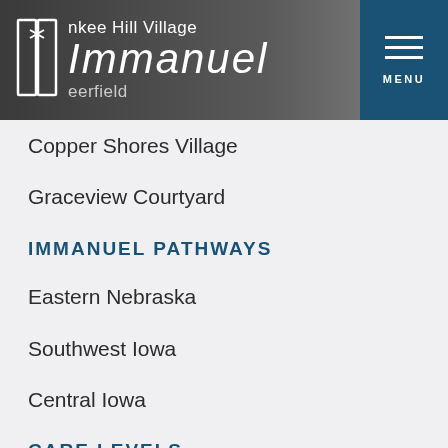Yankee Hill Village Immanuel Deerfield
Copper Shores Village
Graceview Courtyard
IMMANUEL PATHWAYS
Eastern Nebraska
Southwest Iowa
Central Iowa
CARE LEVELS
BLOG
ABOUT US
About